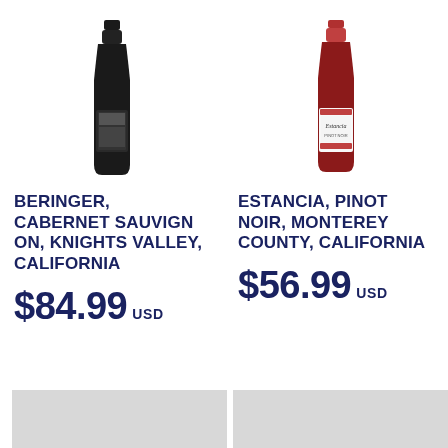[Figure (photo): Dark wine bottle - Beringer Cabernet Sauvignon]
[Figure (photo): Wine bottle with white label - Estancia Pinot Noir]
BERINGER, CABERNET SAUVIGNON, KNIGHTS VALLEY, CALIFORNIA
$84.99 USD
ESTANCIA, PINOT NOIR, MONTEREY COUNTY, CALIFORNIA
$56.99 USD